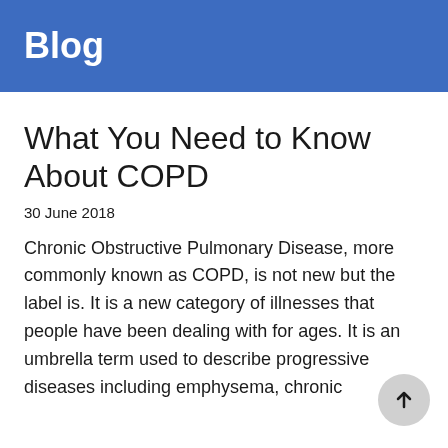Blog
What You Need to Know About COPD
30 June 2018
Chronic Obstructive Pulmonary Disease, more commonly known as COPD, is not new but the label is. It is a new category of illnesses that people have been dealing with for ages. It is an umbrella term used to describe progressive diseases including emphysema, chronic